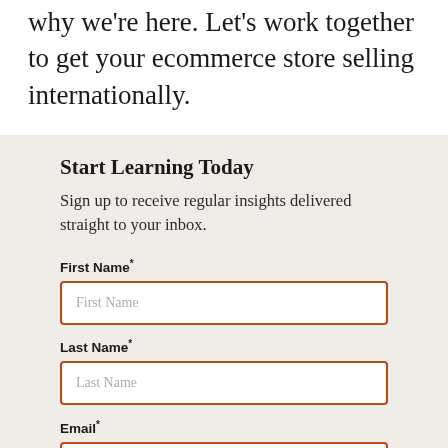why we're here. Let's work together to get your ecommerce store selling internationally.
Start Learning Today
Sign up to receive regular insights delivered straight to your inbox.
First Name*
Last Name*
Email*